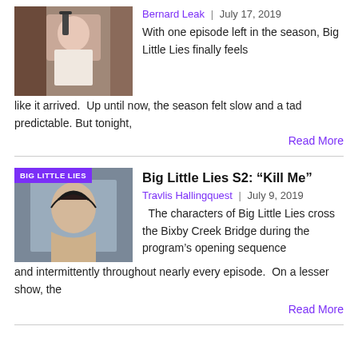[Figure (photo): Woman in white top at a podium with microphone]
Bernard Leak  |  July 17, 2019
With one episode left in the season, Big Little Lies finally feels like it arrived.  Up until now, the season felt slow and a tad predictable. But tonight,
Read More
[Figure (photo): Woman with dark hair in kitchen, BIG LITTLE LIES badge overlay]
Big Little Lies S2: “Kill Me”
Travlis Hallingquest  |  July 9, 2019
The characters of Big Little Lies cross the Bixby Creek Bridge during the program’s opening sequence and intermittently throughout nearly every episode.  On a lesser show, the
Read More